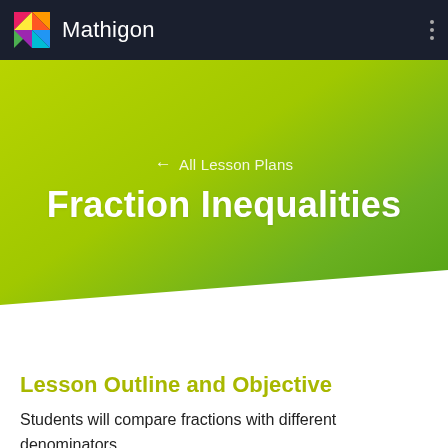Mathigon
[Figure (screenshot): Mathigon lesson plan hero banner with diagonal green gradient background showing back navigation and page title]
← All Lesson Plans
Fraction Inequalities
Lesson Outline and Objective
Students will compare fractions with different denominators.